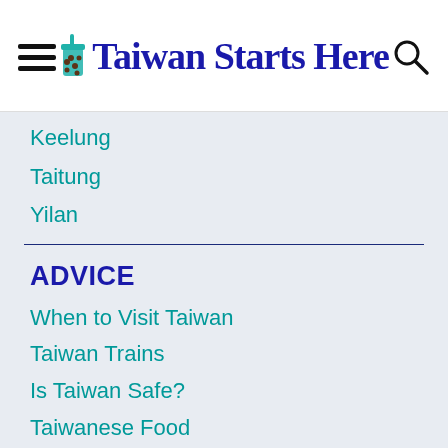Taiwan Starts Here
Keelung
Taitung
Yilan
ADVICE
When to Visit Taiwan
Taiwan Trains
Is Taiwan Safe?
Taiwanese Food
Taiwan Photography
SIM Cards
Coronavirus in Taiwan